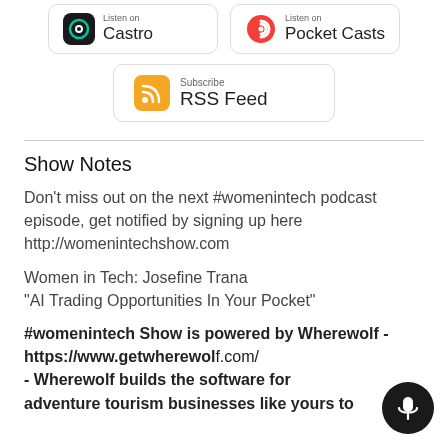[Figure (other): Castro podcast app button with black circular icon and text 'Listen on Castro']
[Figure (other): Pocket Casts podcast app button with red spiral icon and text 'Listen on Pocket Casts']
[Figure (other): RSS Feed subscribe button with orange RSS icon and text 'Subscribe RSS Feed']
Show Notes
Don't miss out on the next #womenintech podcast episode, get notified by signing up here http://womenintechshow.com
Women in Tech: Josefine Trana
"AI Trading Opportunities In Your Pocket"
#womenintech Show is powered by Wherewolf - https://www.getwherewolf.com/ - Wherewolf builds the software for adventure tourism businesses like yours to